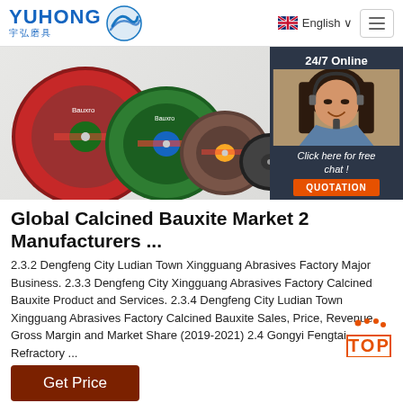[Figure (logo): YUHONG 宇弘磨具 brand logo with blue wave icon]
English ∨
[Figure (photo): Product photo of abrasive cutting discs in various sizes and colors (red, green, brown, black), plus a 24/7 Online chat overlay showing a woman with headset and QUOTATION button]
Global Calcined Bauxite Market 2 Manufacturers ...
2.3.2 Dengfeng City Ludian Town Xingguang Abrasives Factory Major Business. 2.3.3 Dengfeng City Xingguang Abrasives Factory Calcined Bauxite Product and Services. 2.3.4 Dengfeng City Ludian Town Xingguang Abrasives Factory Calcined Bauxite Sales, Price, Revenue, Gross Margin and Market Share (2019-2021) 2.4 Gongyi Fengtai Refractory ...
Get Price